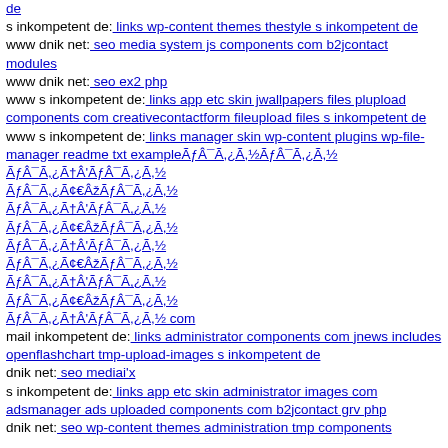de
s inkompetent de: links wp-content themes thestyle s inkompetent de
www dnik net: seo media system js components com b2jcontact modules
www dnik net: seo ex2 php
www s inkompetent de: links app etc skin jwallpapers files plupload components com creativecontactform fileupload files s inkompetent de
www s inkompetent de: links manager skin wp-content plugins wp-file-manager readme txt exampleÃƒÂ¯Ã,¿Ã,½ÃƒÂ¯Ã,¿Ã,½
ÃƒÂ¯Ã,¿Ã†Â'ÃƒÂ¯Ã,¿Ã,½
ÃƒÂ¯Ã,¿Ã¢€ÂžÃƒÂ¯Ã,¿Ã,½
ÃƒÂ¯Ã,¿Ã†Â'ÃƒÂ¯Ã,¿Ã,½
ÃƒÂ¯Ã,¿Ã¢€ÂžÃƒÂ¯Ã,¿Ã,½
ÃƒÂ¯Ã,¿Ã†Â'ÃƒÂ¯Ã,¿Ã,½
ÃƒÂ¯Ã,¿Ã¢€ÂžÃƒÂ¯Ã,¿Ã,½
ÃƒÂ¯Ã,¿Ã†Â'ÃƒÂ¯Ã,¿Ã,½
ÃƒÂ¯Ã,¿Ã¢€ÂžÃƒÂ¯Ã,¿Ã,½
ÃƒÂ¯Ã,¿Ã†Â'ÃƒÂ¯Ã,¿Ã,½ com
mail inkompetent de: links administrator components com jnews includes openflashchart tmp-upload-images s inkompetent de
dnik net: seo mediai'x
s inkompetent de: links app etc skin administrator images com adsmanager ads uploaded components com b2jcontact grv php
dnik net: seo wp-content themes administration tmp components com b2jcontact 1661563260